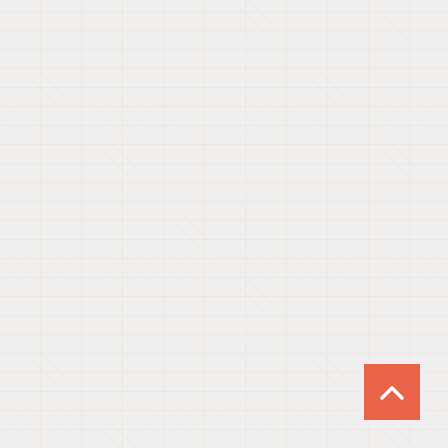[Figure (other): Light textured linen or canvas background with a subtle woven fabric pattern in off-white/light gray tones. In the bottom-right corner, a coral/salmon colored square button with a white upward-pointing chevron arrow (back-to-top navigation element).]